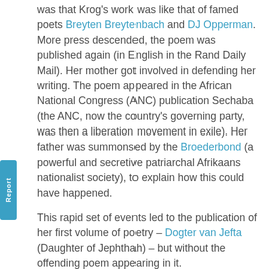was that Krog's work was like that of famed poets Breyten Breytenbach and DJ Opperman. More press descended, the poem was published again (in English in the Rand Daily Mail). Her mother got involved in defending her writing. The poem appeared in the African National Congress (ANC) publication Sechaba (the ANC, now the country's governing party, was then a liberation movement in exile). Her father was summonsed by the Broederbond (a powerful and secretive patriarchal Afrikaans nationalist society), to explain how this could have happened.
This rapid set of events led to the publication of her first volume of poetry – Dogter van Jefta (Daughter of Jephthah) – but without the offending poem appearing in it.
That tale holds all the ingredients of Krog's unfolding trajectory as a South African voice: an uncompromising stance about her own